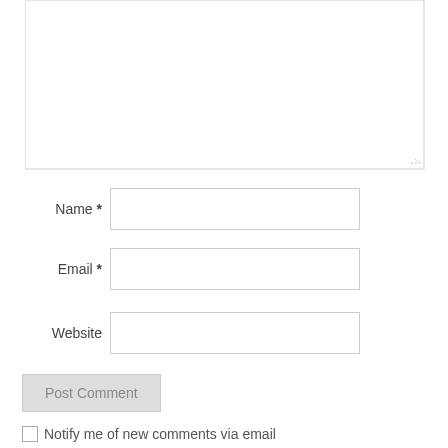[Figure (screenshot): A web comment form with a large textarea at the top, followed by Name*, Email*, and Website input fields, a Post Comment button, and a Notify me of new comments via email checkbox.]
Name *
Email *
Website
Post Comment
Notify me of new comments via email